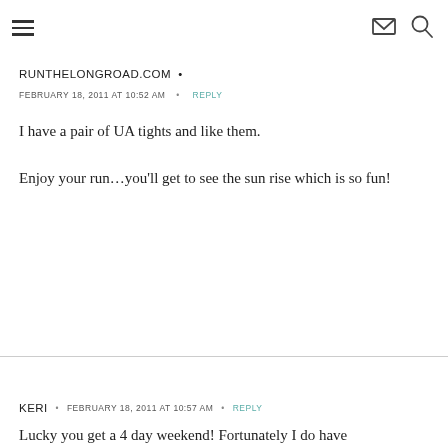≡  ✉  🔍
RUNTHELONGROAD.COM
FEBRUARY 18, 2011 AT 10:52 AM  •  REPLY
I have a pair of UA tights and like them.

Enjoy your run…you'll get to see the sun rise which is so fun!
KERI  •  FEBRUARY 18, 2011 AT 10:57 AM  •  REPLY
Lucky you get a 4 day weekend! Fortunately I do have